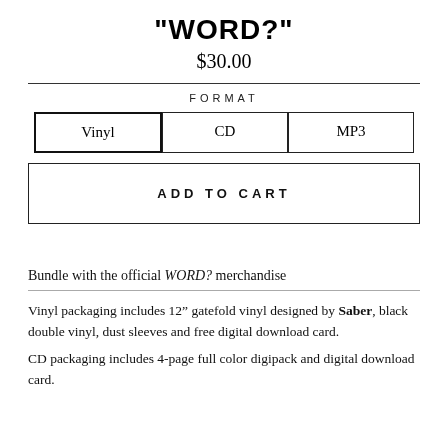"WORD?"
$30.00
FORMAT
Vinyl | CD | MP3
ADD TO CART
Bundle with the official WORD? merchandise
Vinyl packaging includes 12" gatefold vinyl designed by Saber, black double vinyl, dust sleeves and free digital download card.
CD packaging includes 4-page full color digipack and digital download card.